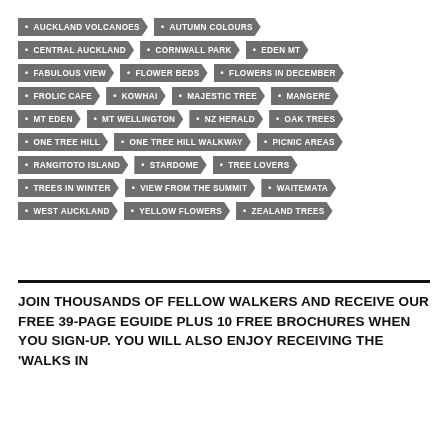AUCKLAND VOLCANOES
AUTUMN COLOURS
CENTRAL AUCKLAND
CORNWALL PARK
EDEN MT
FABULOUS VIEW
FLOWER BEDS
FLOWERS IN DECEMBER
FROLIC CAFE
KOWHAI
MAJESTIC TREE
MANGERE
MT EDEN
MT WELLINGTON
NZ HERALD
OAK TREES
ONE TREE HILL
ONE TREE HILL WALKWAY
PICNIC AREAS
RANGITOTO ISLAND
STARDOME
TREE LOVERS
TREES IN WINTER
VIEW FROM THE SUMMIT
WAITEMATA
WEST AUCKLAND
YELLOW FLOWERS
ZEALAND TREES
JOIN THOUSANDS OF FELLOW WALKERS AND RECEIVE OUR FREE 39-PAGE EGUIDE PLUS 10 FREE BROCHURES WHEN YOU SIGN-UP. YOU WILL ALSO ENJOY RECEIVING THE 'WALKS IN